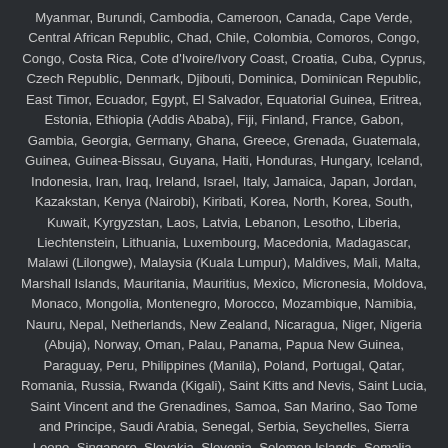Myanmar, Burundi, Cambodia, Cameroon, Canada, Cape Verde, Central African Republic, Chad, Chile, Colombia, Comoros, Congo, Congo, Costa Rica, Cote d'Ivoire/Ivory Coast, Croatia, Cuba, Cyprus, Czech Republic, Denmark, Djibouti, Dominica, Dominican Republic, East Timor, Ecuador, Egypt, El Salvador, Equatorial Guinea, Eritrea, Estonia, Ethiopia (Addis Ababa), Fiji, Finland, France, Gabon, Gambia, Georgia, Germany, Ghana, Greece, Grenada, Guatemala, Guinea, Guinea-Bissau, Guyana, Haiti, Honduras, Hungary, Iceland, Indonesia, Iran, Iraq, Ireland, Israel, Italy, Jamaica, Japan, Jordan, Kazakstan, Kenya (Nairobi), Kiribati, Korea, North, Korea, South, Kuwait, Kyrgyzstan, Laos, Latvia, Lebanon, Lesotho, Liberia, Liechtenstein, Lithuania, Luxembourg, Macedonia, Madagascar, Malawi (Lilongwe), Malaysia (Kuala Lumpur), Maldives, Mali, Malta, Marshall Islands, Mauritania, Mauritius, Mexico, Micronesia, Moldova, Monaco, Mongolia, Montenegro, Morocco, Mozambique, Namibia, Nauru, Nepal, Netherlands, New Zealand, Nicaragua, Niger, Nigeria (Abuja), Norway, Oman, Palau, Panama, Papua New Guinea, Paraguay, Peru, Philippines (Manila), Poland, Portugal, Qatar, Romania, Russia, Rwanda (Kigali), Saint Kitts and Nevis, Saint Lucia, Saint Vincent and the Grenadines, Samoa, San Marino, Sao Tome and Principe, Saudi Arabia, Senegal, Serbia, Seychelles, Sierra Leone, Singapore, Slovakia, Slovenia, Solomon Islands, Somalia, South Africa, South Sudan, Spain, Sri Lanka, Sudan, Suriname, Swaziland, Sweden, Switzerland, Syria, Tajikistan, Tanzania, Thailand, Togo, Tonga, Trinidad and Tobago, Tunisia, Turkey, Turkmenistan, Tuvalu, Uganda (Kampala), Ukraine, United Arab Emirates (Dubai), United Kingdom (London), United States, Uruguay, Uzbekistan, Vanuatu, Venezuela, Vietnam, Yemen , Zambia (Lusaka), Zimbabwe